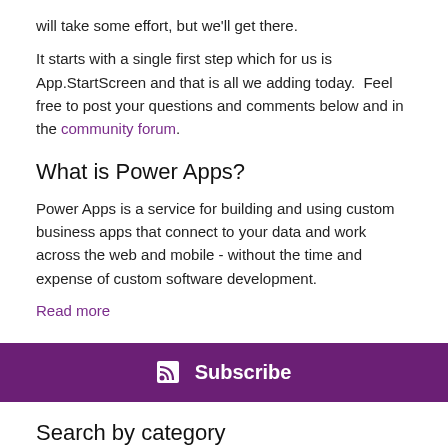will take some effort, but we'll get there.
It starts with a single first step which for us is App.StartScreen and that is all we adding today.  Feel free to post your questions and comments below and in the community forum.
What is Power Apps?
Power Apps is a service for building and using custom business apps that connect to your data and work across the web and mobile - without the time and expense of custom software development.
Read more
Subscribe
Search by category
AI Builder